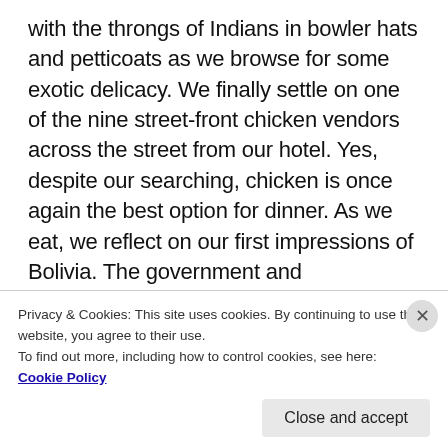with the throngs of Indians in bowler hats and petticoats as we browse for some exotic delicacy.  We finally settle on one of the nine street-front chicken vendors across the street from our hotel. Yes, despite our searching, chicken is once again the best option for dinner.  As we eat, we reflect on our first impressions of Bolivia.  The government and infrastructure are presenting us with some new challenges, but the people we have encountered have gone out of their way to help us and make us feel welcome. We will grow to appreciate the people of Bolivia even more in the coming days as their country continues to put us to the test.
Privacy & Cookies: This site uses cookies. By continuing to use this website, you agree to their use.
To find out more, including how to control cookies, see here:
Cookie Policy
Close and accept